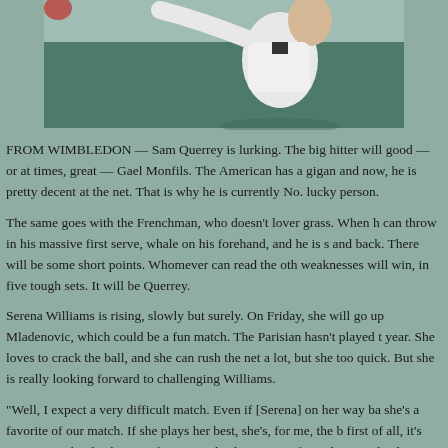[Figure (photo): A tennis player in white clothing mid-swing on a green court background, partially cropped at the top of the page.]
FROM WIMBLEDON — Sam Querrey is lurking. The big hitter will good — or at times, great — Gael Monfils. The American has a gigan and now, he is pretty decent at the net. That is why he is currently No. lucky person.
The same goes with the Frenchman, who doesn't lover grass. When h can throw in his massive first serve, whale on his forehand, and he is s and back. There will be some short points. Whomever can read the oth weaknesses will win, in five tough sets. It will be Querrey.
Serena Williams is rising, slowly but surely. On Friday, she will go up Mladenovic, which could be a fun match. The Parisian hasn't played t year. She loves to crack the ball, and she can rush the net a lot, but she too quick. But she is really looking forward to challenging Williams.
"Well, I expect a very difficult match. Even if [Serena] on her way ba she's a favorite of our match. If she plays her best, she's, for me, the b first of all, it's great to see her back even after giving birth. It's great f privilege to play her, especially at this stage. We kind of both earned t third round, so will be a very nice challenge. I'm not getting too excit